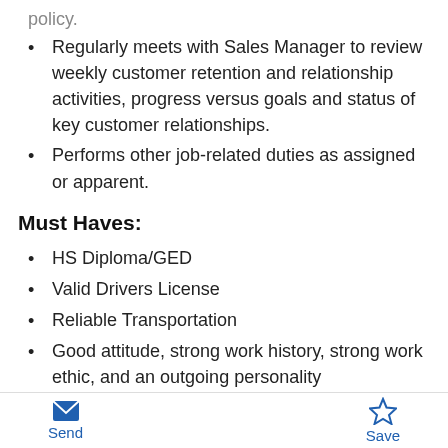Regularly meets with Sales Manager to review weekly customer retention and relationship activities, progress versus goals and status of key customer relationships.
Performs other job-related duties as assigned or apparent.
Must Haves:
HS Diploma/GED
Valid Drivers License
Reliable Transportation
Good attitude, strong work history, strong work ethic, and an outgoing personality
Preferred: Previous Sales experience.
Physical Requirements:
Send  Save